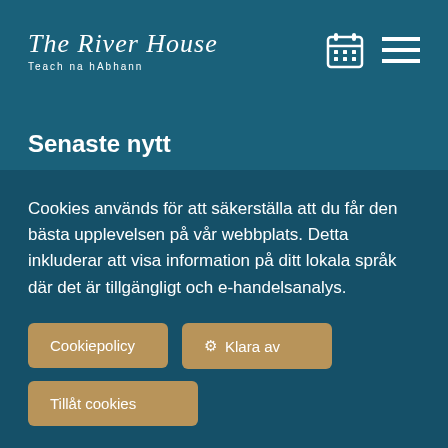[Figure (logo): The River House logo with cursive text and subtitle 'Teach na hAbhann', calendar icon and hamburger menu icon in top right]
Senaste nytt
Vi har inga nyhetsartiklar publicerade hittills.
Cookies används för att säkerställa att du får den bästa upplevelsen på vår webbplats. Detta inkluderar att visa information på ditt lokala språk där det är tillgängligt och e-handelsanalys.
Cookiepolicy
⚙ Klara av
Tillåt cookies